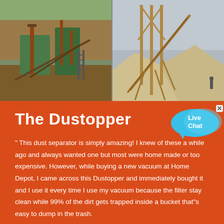[Figure (photo): Two industrial mining/crushing facility photos side by side: left shows green heavy machinery and conveyor belts on a hillside with dirt mounds; right shows a large industrial conveyor/crane structure with sand/gravel piles and workers.]
The Dustopper
[Figure (illustration): Live Chat speech bubble widget in blue with white text, with a small x close button.]
" This dust separator is simply amazing! I knew of these a while ago and always wanted one but most were home made or too expensive. However, while buying a new vacuum at Home Depot, I came across this Dustopper and immediately bought it and I use it every time I use my vacuum because the filter stay clean while 99% of the dirt gets trapped inside a bucket that"s easy to dump in the trash.